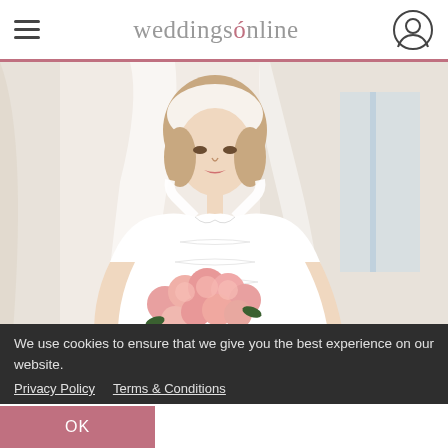weddingsonline
[Figure (photo): A bride in a white strapless wedding dress with a long veil, holding a bouquet of pink roses, looking down. Soft, bright background.]
We use cookies to ensure that we give you the best experience on our website.
Privacy Policy   Terms & Conditions
OK